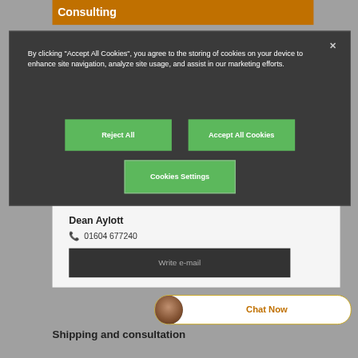Consulting
By clicking “Accept All Cookies”, you agree to the storing of cookies on your device to enhance site navigation, analyze site usage, and assist in our marketing efforts.
Reject All
Accept All Cookies
Cookies Settings
Dean Aylott
01604 677240
Write e-mail
Chat Now
Shipping and consultation